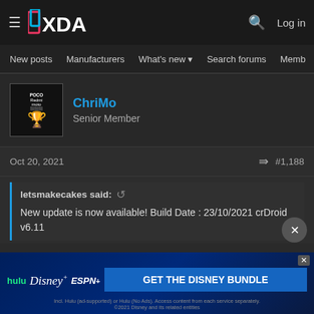XDA Developers Forum - Navigation bar with New posts, Manufacturers, What's new, Search forums, Members
[Figure (screenshot): User profile for ChriMo, Senior Member, with POCO/Redmi/Moto avatar]
Oct 20, 2021   #1,188
letsmakecakes said: New update is now available! Build Date : 23/10/2021 crDroid v6.11
I'm still on 6.3 (Feb. 2021) and happy. Now I think I will update. Not sure if dirty flashing works since OTA update does not show any newer update? If dirty flashing doesn't work, I do not want the hassle of a full installation of resetup and loss of all my apps. Maybe the update will then come via OTA since not immediately available for me.
[Figure (screenshot): GET THE DISNEY BUNDLE advertisement with Hulu, Disney+, ESPN+ logos]